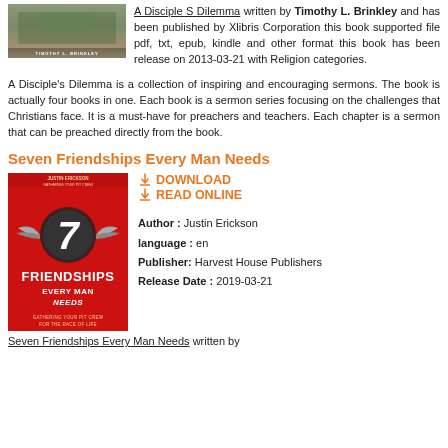[Figure (photo): Book cover of 'A Disciple's Dilemma' by Timothy L. Brinkley, showing a nature/landscape design]
A Disciple S Dilemma written by Timothy L. Brinkley and has been published by Xlibris Corporation this book supported file pdf, txt, epub, kindle and other format this book has been release on 2013-03-21 with Religion categories.
A Disciple's Dilemma is a collection of inspiring and encouraging sermons. The book is actually four books in one. Each book is a sermon series focusing on the challenges that Christians face. It is a must-have for preachers and teachers. Each chapter is a sermon that can be preached directly from the book.
Seven Friendships Every Man Needs
[Figure (photo): Book cover of 'Seven Friendships Every Man Needs' by Justin Erickson, red cover with large '7' and wings emblem]
DOWNLOAD
READ ONLINE
Author : Justin Erickson
language : en
Publisher: Harvest House Publishers
Release Date : 2019-03-21
Seven Friendships Every Man Needs written by